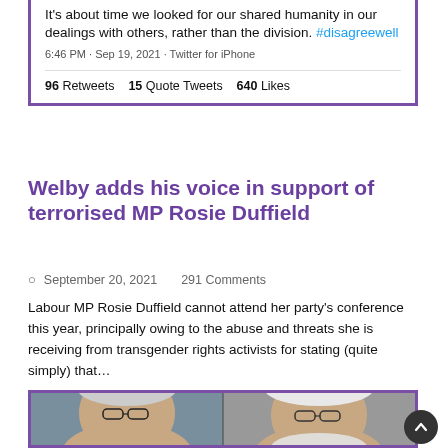[Figure (screenshot): Tweet screenshot with purple border showing text about shared humanity and #disagreewell hashtag, with 96 Retweets, 15 Quote Tweets, 640 Likes]
Welby adds his voice in support of terrorised MP Rosie Duffield
September 20, 2021    291 Comments
Labour MP Rosie Duffield cannot attend her party's conference this year, principally owing to the abuse and threats she is receiving from transgender rights activists for stating (quite simply) that…
[Figure (photo): Two men with white/grey hair and glasses, photographed close-up, inside a purple border frame]